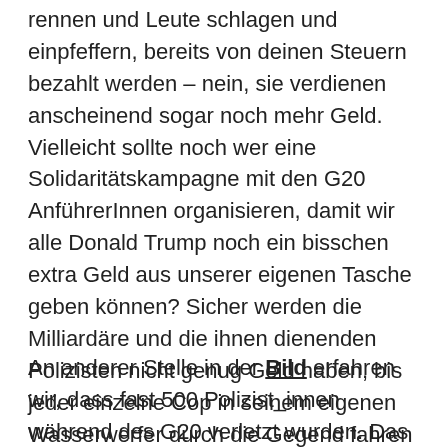rennen und Leute schlagen und einpfeffern, bereits von deinen Steuern bezahlt werden – nein, sie verdienen anscheinend sogar noch mehr Geld. Vielleicht sollte noch wer eine Solidaritätskampagne mit den G20 AnführerInnen organisieren, damit wir alle Donald Trump noch ein bisschen extra Geld aus unserer eigenen Tasche geben können? Sicher werden die Milliardäre und die ihnen dienenden Polizisten nicht genug Geld haben, bis jeder einzelne Cop in seinem eigenen Wasserwerfer durch die Gegend fahren und die Welt in Pfefferspray einnebeln kann.
An anderer Stelle in der Bild erfahren wir, dass fast 500 Polizist_innen während des G20 verletzt wurden. Das ist eine reine Lüge: relativ schnell kam heraus, dass es sich nur um 231 verletzte